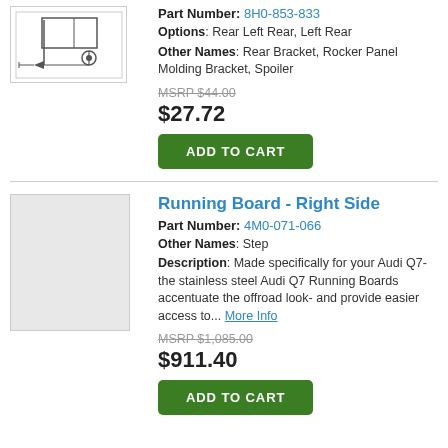[Figure (illustration): Part diagram showing a bracket/clip component]
Part Number: 8H0-853-833
Options: Rear Left Rear, Left Rear
Other Names: Rear Bracket, Rocker Panel Molding Bracket, Spoiler
MSRP $44.00
$27.72
ADD TO CART
Running Board - Right Side
Part Number: 4M0-071-066
Other Names: Step
Description: Made specifically for your Audi Q7- the stainless steel Audi Q7 Running Boards accentuate the offroad look- and provide easier access to... More Info
MSRP $1,085.00
$911.40
ADD TO CART